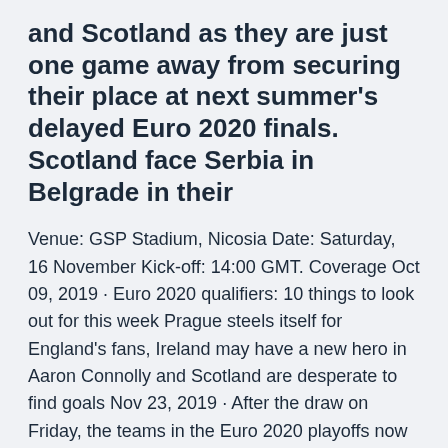and Scotland as they are just one game away from securing their place at next summer's delayed Euro 2020 finals. Scotland face Serbia in Belgrade in their
Venue: GSP Stadium, Nicosia Date: Saturday, 16 November Kick-off: 14:00 GMT. Coverage Oct 09, 2019 · Euro 2020 qualifiers: 10 things to look out for this week Prague steels itself for England's fans, Ireland may have a new hero in Aaron Connolly and Scotland are desperate to find goals Nov 23, 2019 · After the draw on Friday, the teams in the Euro 2020 playoffs now know what they need to do in order to reach the final tournament. Seven sides could reach the European Championships for the first The 2020 UEFA European Football Championship, commonly referred to as UEFA